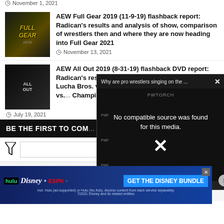November 1, 2021 (partial, top of page)
AEW Full Gear 2019 (11-9-19) flashback report: Radican's results and analysis of show, comparison of wrestlers then and where they are now heading into Full Gear 2021 — November 13, 2021
AEW All Out 2019 (8-31-19) flashback DVD report: Radican's results and analysis Omega vs. Pack, Lucha Bros. vs. Young Bucks Ladder match, Jericho vs. ... Champion... — July 19, 2021
BE THE FIRST TO COM...
[Figure (screenshot): Video overlay popup: Why are pro wrestlers singing on the ... with PWTORCH branding and 'No compatible source was found for this media.' error message with large X]
Leave a Reply
Your
Comment
[Figure (other): Hulu Disney+ ESPN+ GET THE DISNEY BUNDLE advertisement banner. Incl. Hulu (ad-supported) or Hulu (No Ads). Access content from each service separately. ©2021 Disney and its related entities]